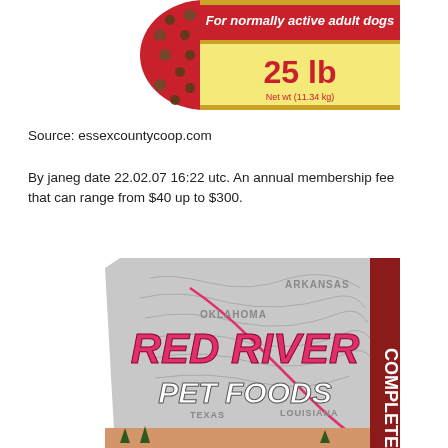[Figure (photo): Dog food bag showing kibble pieces on left, red banner reading 'For normally active adult dogs', yellow panel showing '25 lb Net wt (11.34 kg)']
Source: essexcountycoop.com
By janeg date 22.02.07 16:22 utc. An annual membership fee that can range from $40 up to $300.
[Figure (photo): Red River Pet Foods dog food bag with gray background showing map of Oklahoma, Arkansas, Texas, Louisiana states with pink river line and bold pink 'RED RIVER PET FOODS' text, partial red panel on right side reading 'ETE']